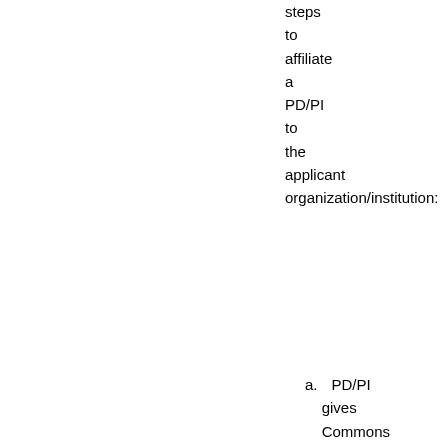steps to affiliate a PD/PI to the applicant organization/institution:
a. PD/PI gives Commons user ID and email address to the administrator of the applicant institution. (The email address